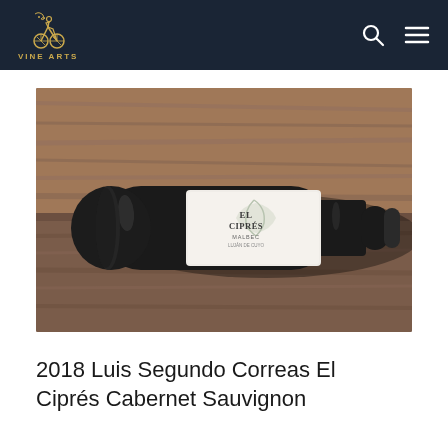VINE ARTS
[Figure (photo): A dark wine bottle with white label reading 'El Ciprés' lying horizontally on a rustic wooden surface]
2018 Luis Segundo Correas El Ciprés Cabernet Sauvignon